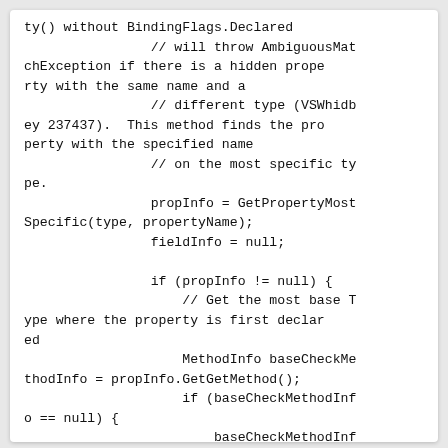[Figure (screenshot): Code snippet in monospace font showing C# source code with comments about BindingFlags.Declared, AmbiguousMatchException, GetPropertyMostSpecific, fieldInfo, propInfo null checks, and baseCheckMethodInfo assignments.]